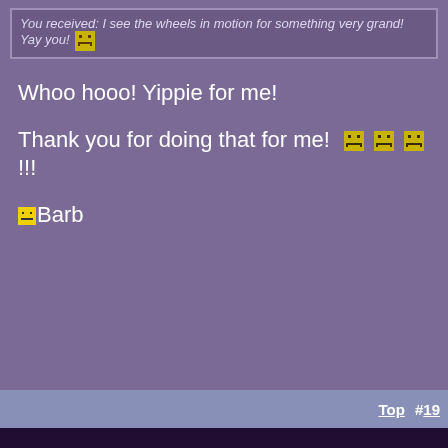You received: I see the wheels in motion for something very grand! Yay you!
Whoo hooo! Yippie for me!
Thank you for doing that for me! !!!
Barb
Top  #19